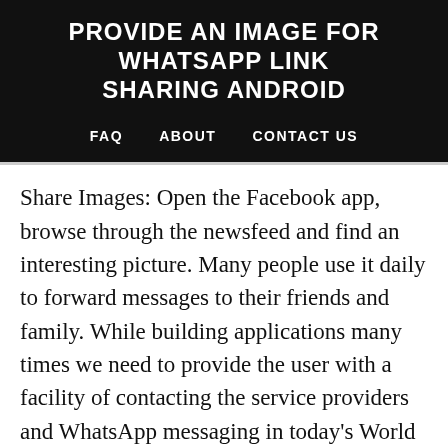PROVIDE AN IMAGE FOR WHATSAPP LINK SHARING ANDROID
FAQ   ABOUT   CONTACT US
Share Images: Open the Facebook app, browse through the newsfeed and find an interesting picture. Many people use it daily to forward messages to their friends and family. While building applications many times we need to provide the user with a facility of contacting the service providers and WhatsApp messaging in today's World is much popular. With the latest version of WhatsApp rolling out in different parts of the world, it's relatively easy to share GIFs on Android. Well, Uploading videos, photos, posts on Facebook are in